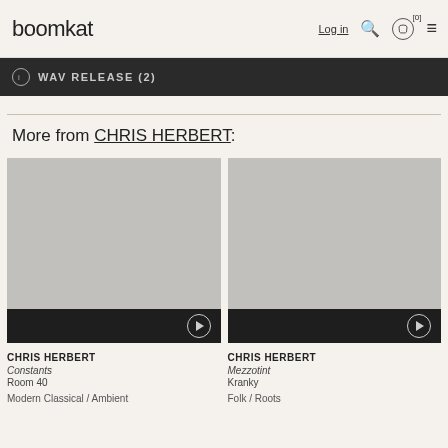boomkat Log in [0]
WAV RELEASE (2)
More from CHRIS HERBERT:
[Figure (other): Album artwork placeholder (grey) for CHRIS HERBERT - Constants on Room 40, with play button overlay]
CHRIS HERBERT
Constants
Room 40
Modern Classical / Ambient
[Figure (other): Album artwork placeholder (grey) for CHRIS HERBERT - Mezzotint on Kranky, with play button overlay]
CHRIS HERBERT
Mezzotint
Kranky
Folk / Roots